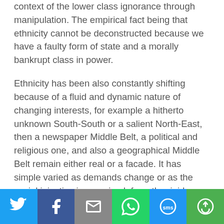context of the lower class ignorance through manipulation. The empirical fact being that ethnicity cannot be deconstructed because we have a faulty form of state and a morally bankrupt class in power.
Ethnicity has been also constantly shifting because of a fluid and dynamic nature of changing interests, for example a hitherto unknown South-South or a salient North-East, then a newspaper Middle Belt, a political and religious one, and also a geographical Middle Belt remain either real or a facade. It has simple varied as demands change or as the social injustice is perceived, from the rigid North/South and Christian/Muslim divide.
To the mutual suspicion of the West/East and East/South–South down to statism in the form of the
[Figure (infographic): Social media share bar with six buttons: Twitter (blue bird icon), Facebook (dark blue f icon), Email (grey envelope icon), WhatsApp (green phone icon), SMS (blue SMS bubble icon), More (green circular arrow icon)]